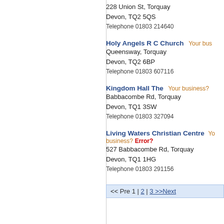228 Union St,  Torquay
Devon, TQ2 5QS
Telephone 01803 214640
Holy Angels R C Church  Your bus...
Queensway,  Torquay
Devon, TQ2 6BP
Telephone 01803 607116
Kingdom Hall The  Your business?
Babbacombe Rd,  Torquay
Devon, TQ1 3SW
Telephone 01803 327094
Living Waters Christian Centre  Yo... business?  Error?
527 Babbacombe Rd,  Torquay
Devon, TQ1 1HG
Telephone 01803 291156
<< Pre 1 | 2 | 3 >>Next